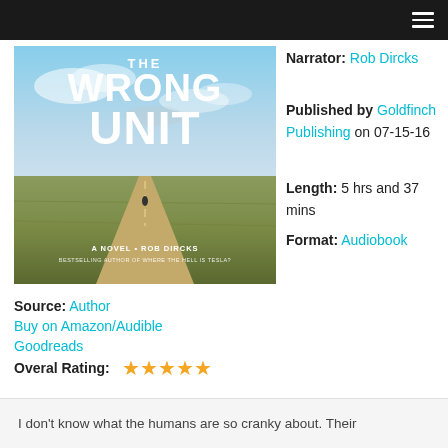[Figure (photo): Book cover for 'The Wrong Unit' by Rob Dircks showing a road stretching into a flat landscape under a cloudy sky]
Narrator: Rob Dircks
Published by Goldfinch Publishing on 07-15-16
Length: 5 hrs and 37 mins
Format: Audiobook
Source: Author
Buy on Amazon/Audible
Goodreads
Overal Rating: ★★★★★
I don't know what the humans are so cranky about. Their